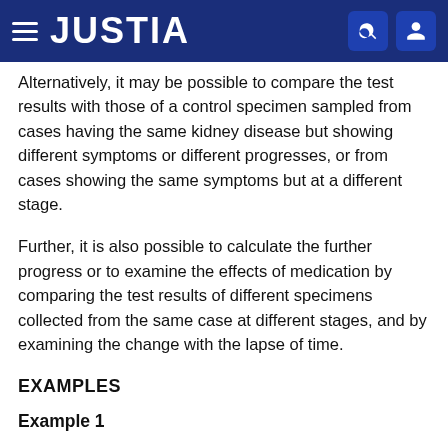JUSTIA
Alternatively, it may be possible to compare the test results with those of a control specimen sampled from cases having the same kidney disease but showing different symptoms or different progresses, or from cases showing the same symptoms but at a different stage.
Further, it is also possible to calculate the further progress or to examine the effects of medication by comparing the test results of different specimens collected from the same case at different stages, and by examining the change with the lapse of time.
EXAMPLES
Example 1
Preparation (I) of Antibody Binding to FABP in